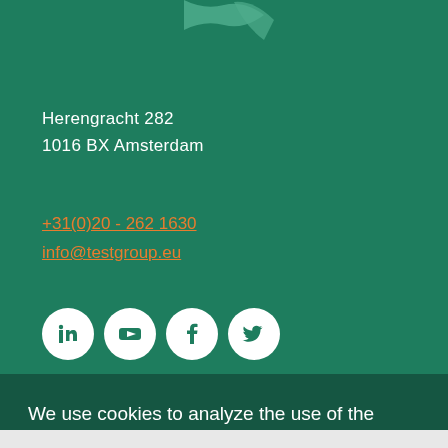[Figure (logo): Partial logo — teal curved shape visible at top center]
Herengracht 282
1016 BX Amsterdam
+31(0)20 - 262 1630
info@testgroup.eu
[Figure (infographic): Row of four white circular social media icons: LinkedIn, YouTube, Facebook, Twitter]
We use cookies to analyze the use of the website and to improve the user-friendliness. View our cookie statement for more information.
Accept